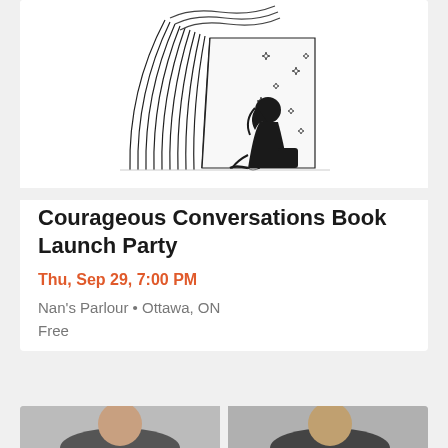[Figure (illustration): Black and white illustration of a woman sitting in front of a large open book with stars around her and flowing pages above]
Courageous Conversations Book Launch Party
Thu, Sep 29, 7:00 PM
Nan's Parlour • Ottawa, ON
Free
[Figure (photo): Partial photo of people at bottom of page, cropped]